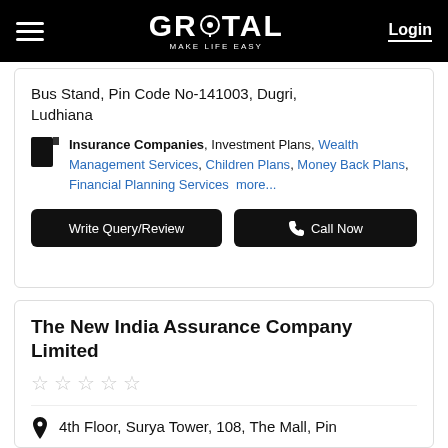GROTAL MAKE LIFE EASY | Login
Bus Stand, Pin Code No-141003, Dugri, Ludhiana
Insurance Companies, Investment Plans, Wealth Management Services, Children Plans, Money Back Plans, Financial Planning Services more...
Write Query/Review | Call Now
The New India Assurance Company Limited
☆☆☆☆☆
4th Floor, Surya Tower, 108, The Mall, Pin